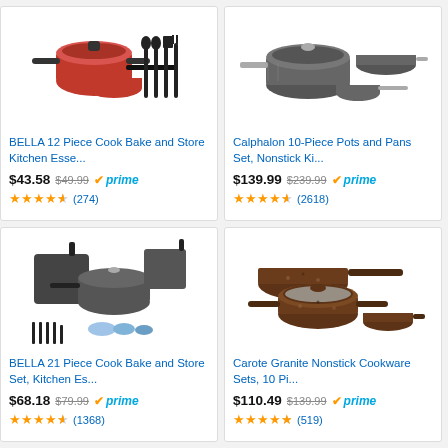[Figure (photo): BELLA 12 Piece Cook Bake and Store Kitchen Essentials set with red pots and black utensils]
BELLA 12 Piece Cook Bake and Store Kitchen Esse...
$43.58  $49.99  prime  ★★★★★ (274)
[Figure (photo): Calphalon 10-Piece Pots and Pans Set, Nonstick Kitchen cookware grey set]
Calphalon 10-Piece Pots and Pans Set, Nonstick Ki...
$139.99  $239.99  prime  ★★★★★ (2618)
[Figure (photo): BELLA 21 Piece Cook Bake and Store Set, Kitchen Essentials grey pots pans and containers]
BELLA 21 Piece Cook Bake and Store Set, Kitchen Es...
$68.18  $79.99  prime  ★★★★★ (1368)
[Figure (photo): Carote Granite Nonstick Cookware Sets, 10 Piece brown speckled pots and pans]
Carote Granite Nonstick Cookware Sets, 10 Pi...
$110.49  $139.99  prime  ★★★★★ (519)